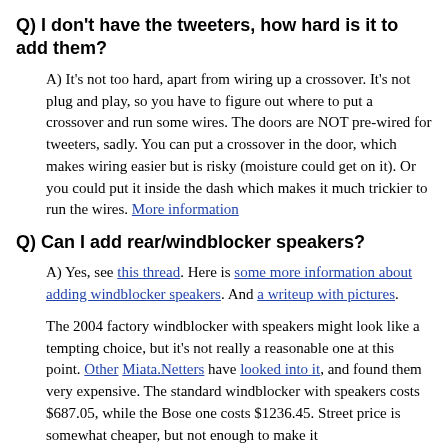Q) I don't have the tweeters, how hard is it to add them?
A) It's not too hard, apart from wiring up a crossover. It's not plug and play, so you have to figure out where to put a crossover and run some wires. The doors are NOT pre-wired for tweeters, sadly. You can put a crossover in the door, which makes wiring easier but is risky (moisture could get on it). Or you could put it inside the dash which makes it much trickier to run the wires. More information
Q) Can I add rear/windblocker speakers?
A) Yes, see this thread. Here is some more information about adding windblocker speakers. And a writeup with pictures.
The 2004 factory windblocker with speakers might look like a tempting choice, but it's not really a reasonable one at this point. Other Miata.Netters have looked into it, and found them very expensive. The standard windblocker with speakers costs $687.05, while the Bose one costs $1236.45. Street price is somewhat cheaper, but not enough to make it